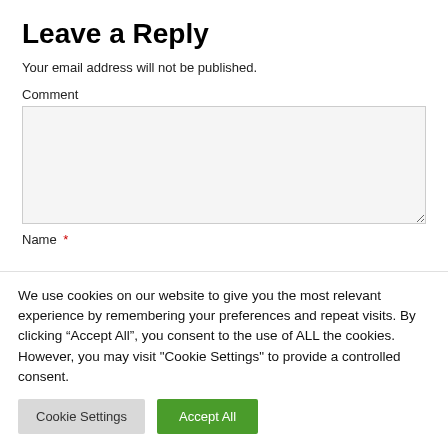Leave a Reply
Your email address will not be published.
Comment
Name *
We use cookies on our website to give you the most relevant experience by remembering your preferences and repeat visits. By clicking “Accept All”, you consent to the use of ALL the cookies. However, you may visit "Cookie Settings" to provide a controlled consent.